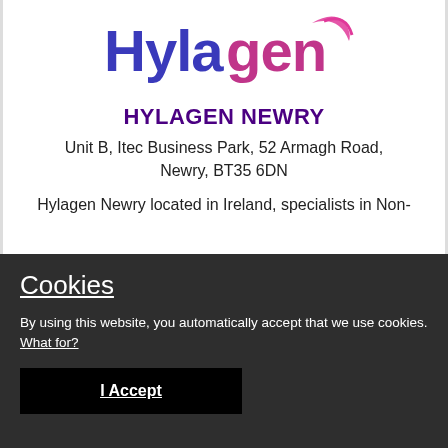[Figure (logo): Hylagen logo with blue and pink text and a pink curved accent]
HYLAGEN NEWRY
Unit B, Itec Business Park, 52 Armagh Road, Newry, BT35 6DN
Hylagen Newry located in Ireland, specialists in Non-
Cookies
By using this website, you automatically accept that we use cookies. What for?
I Accept